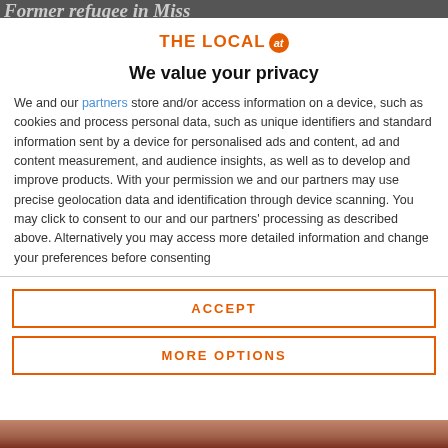Former refugee in Miss
[Figure (logo): The Local AT logo — orange text with orange circular badge containing 'at']
We value your privacy
We and our partners store and/or access information on a device, such as cookies and process personal data, such as unique identifiers and standard information sent by a device for personalised ads and content, ad and content measurement, and audience insights, as well as to develop and improve products. With your permission we and our partners may use precise geolocation data and identification through device scanning. You may click to consent to our and our partners' processing as described above. Alternatively you may access more detailed information and change your preferences before consenting
ACCEPT
MORE OPTIONS